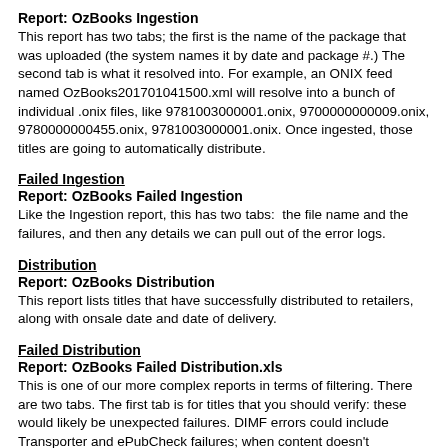Report: OzBooks Ingestion
This report has two tabs; the first is the name of the package that was uploaded (the system names it by date and package #.) The second tab is what it resolved into. For example, an ONIX feed named OzBooks201701041500.xml will resolve into a bunch of individual .onix files, like 9781003000001.onix, 9700000000009.onix, 9780000000455.onix, 9781003000001.onix. Once ingested, those titles are going to automatically distribute.
Failed Ingestion
Report: OzBooks Failed Ingestion
Like the Ingestion report, this has two tabs:  the file name and the failures, and then any details we can pull out of the error logs.
Distribution
Report: OzBooks Distribution
This report lists titles that have successfully distributed to retailers, along with onsale date and date of delivery.
Failed Distribution
Report: OzBooks Failed Distribution.xls
This is one of our more complex reports in terms of filtering. There are two tabs. The first tab is for titles that you should verify: these would likely be unexpected failures. DIMF errors could include Transporter and ePubCheck failures; when content doesn't